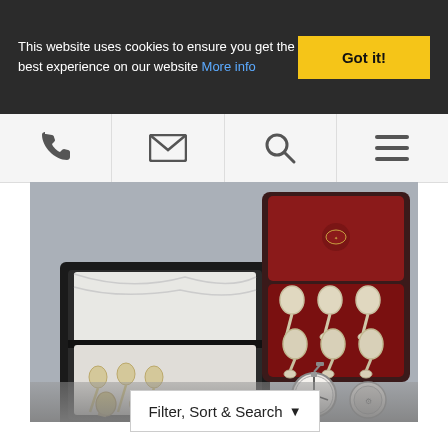This website uses cookies to ensure you get the best experience on our website More info
Got it!
[Figure (other): Navigation bar with phone, email, search, and hamburger menu icons]
[Figure (photo): Photo of two cases of silver spoons and a pocket watch with key, displayed on a grey surface]
Filter, Sort & Search